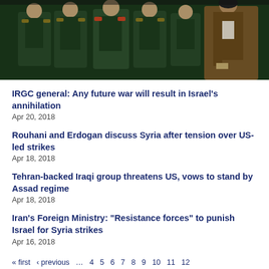[Figure (photo): Group photo of IRGC military officers in green uniforms with a cleric in brown robe on the right]
IRGC general: Any future war will result in Israel’s annihilation
Apr 20, 2018
Rouhani and Erdogan discuss Syria after tension over US-led strikes
Apr 18, 2018
Tehran-backed Iraqi group threatens US, vows to stand by Assad regime
Apr 18, 2018
Iran’s Foreign Ministry: “Resistance forces” to punish Israel for Syria strikes
Apr 16, 2018
« first  ‹ previous  …  4  5  6  7  8  9  10  11  12